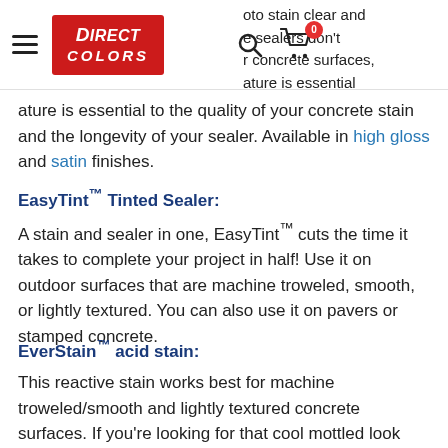Direct Colors navigation bar with logo, search, and cart (0 items)
oto stain clear and sealers don't r concrete surfaces, ature is essential to the quality of your concrete stain and the longevity of your sealer. Available in high gloss and satin finishes.
EasyTint™ Tinted Sealer:
A stain and sealer in one, EasyTint™ cuts the time it takes to complete your project in half! Use it on outdoor surfaces that are machine troweled, smooth, or lightly textured. You can also use it on pavers or stamped concrete.
EverStain™ acid stain:
This reactive stain works best for machine troweled/smooth and lightly textured concrete surfaces. If you're looking for that cool mottled look (showcasing “marbled” spots of color), EverStain™ can achieve it!